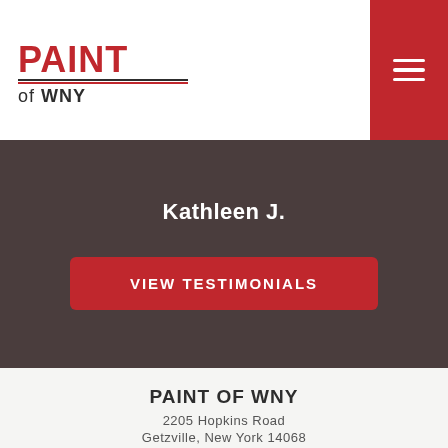[Figure (logo): Paint of WNY logo with red PAINT text, horizontal lines, and 'of WNY' text below]
[Figure (other): Red hamburger menu button in top right corner]
Kathleen J.
VIEW TESTIMONIALS
PAINT OF WNY
2205 Hopkins Road
Getzville, New York 14068